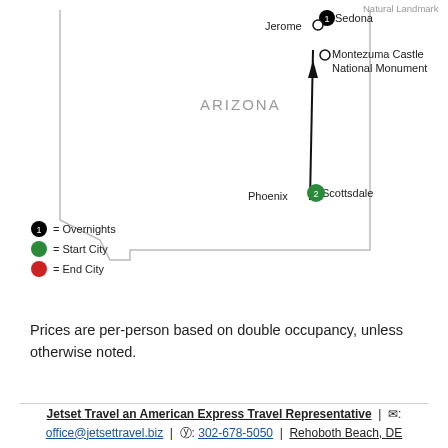[Figure (map): Map of Arizona showing route from Scottsdale/Phoenix through Montezuma Castle National Monument, Jerome, and Sedona. Map legend shows: circle with 1 = Overnights, green circle = Start City, red circle = End City.]
Prices are per-person based on double occupancy, unless otherwise noted.
Jetset Travel an American Express Travel Representative | ✉: office@jetsettravel.biz | ©: 302-678-5050 | Rehoboth Beach, DE